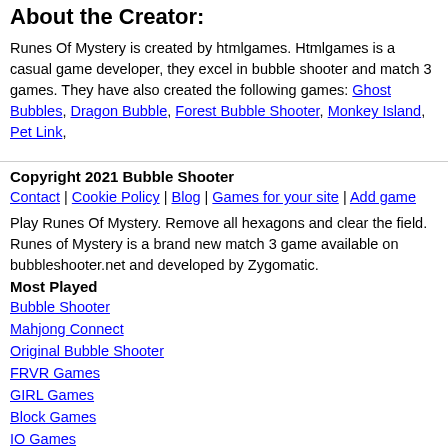About the Creator:
Runes Of Mystery is created by htmlgames. Htmlgames is a casual game developer, they excel in bubble shooter and match 3 games. They have also created the following games: Ghost Bubbles, Dragon Bubble, Forest Bubble Shooter, Monkey Island, Pet Link,
Copyright 2021 Bubble Shooter
Contact | Cookie Policy | Blog | Games for your site | Add game
Play Runes Of Mystery. Remove all hexagons and clear the field. Runes of Mystery is a brand new match 3 game available on bubbleshooter.net and developed by Zygomatic.
Most Played
Bubble Shooter
Mahjong Connect
Original Bubble Shooter
FRVR Games
GIRL Games
Block Games
IO Games
Word Games